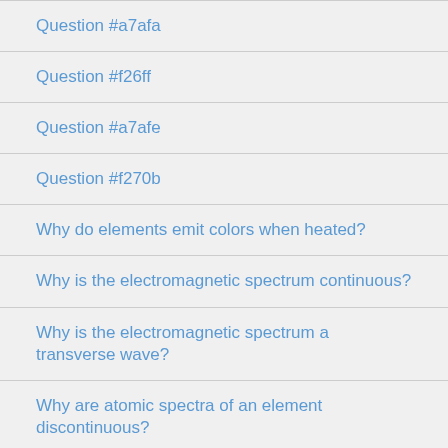Question #a7afa
Question #f26ff
Question #a7afe
Question #f270b
Why do elements emit colors when heated?
Why is the electromagnetic spectrum continuous?
Why is the electromagnetic spectrum a transverse wave?
Why are atomic spectra of an element discontinuous?
Why is the electromagnetic spectrum important?